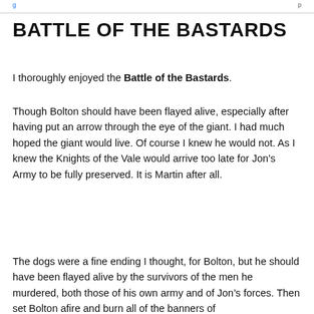BATTLE OF THE BASTARDS
I thoroughly enjoyed the Battle of the Bastards.
Though Bolton should have been flayed alive, especially after having put an arrow through the eye of the giant. I had much hoped the giant would live. Of course I knew he would not. As I knew the Knights of the Vale would arrive too late for Jon’s Army to be fully preserved. It is Martin after all.
The dogs were a fine ending I thought, for Bolton, but he should have been flayed alive by the survivors of the men he murdered, both those of his own army and of Jon’s forces. Then set Bolton afire and burn all of the banners of